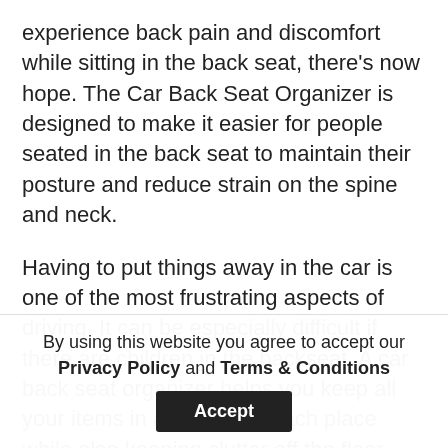experience back pain and discomfort while sitting in the back seat, there's now hope. The Car Back Seat Organizer is designed to make it easier for people seated in the back seat to maintain their posture and reduce strain on the spine and neck.
Having to put things away in the car is one of the most frustrating aspects of driving. It can be especially difficult if there are children in the backseat. A car back seat organizer helps you keep all your items in an easy-to-reach place while also keeping clutter off the floor. These organizers come with compartments to hold drinks, snacks, toys, and more. They can even act as a
By using this website you agree to accept our Privacy Policy and Terms & Conditions
Accept